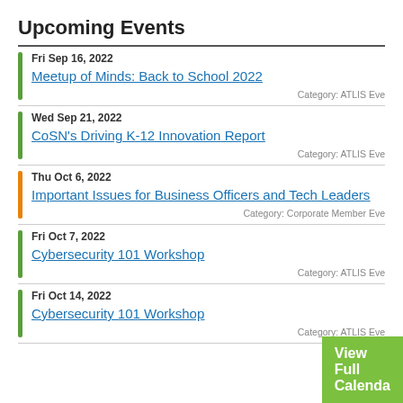Upcoming Events
Fri Sep 16, 2022 — Meetup of Minds: Back to School 2022 — Category: ATLIS Eve
Wed Sep 21, 2022 — CoSN's Driving K-12 Innovation Report — Category: ATLIS Eve
Thu Oct 6, 2022 — Important Issues for Business Officers and Tech Leaders — Category: Corporate Member Eve
Fri Oct 7, 2022 — Cybersecurity 101 Workshop — Category: ATLIS Eve
Fri Oct 14, 2022 — Cybersecurity 101 Workshop — Category: ATLIS Eve